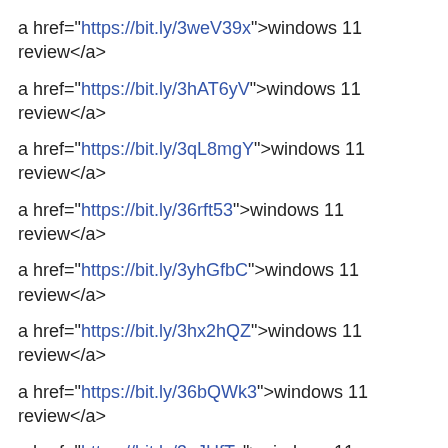a href="https://bit.ly/3weV39x">windows 11 review</a>
a href="https://bit.ly/3hAT6yV">windows 11 review</a>
a href="https://bit.ly/3qL8mgY">windows 11 review</a>
a href="https://bit.ly/36rft53">windows 11 review</a>
a href="https://bit.ly/3yhGfbC">windows 11 review</a>
a href="https://bit.ly/3hx2hQZ">windows 11 review</a>
a href="https://bit.ly/36bQWk3">windows 11 review</a>
a href="https://bit.ly/3qJHfTo">windows 11 review</a>
a href="https://bit.ly/3qNf8CX">windows 11 review</a>
a href="https://bit.ly/3dE4OaY">windows 11 review</a>
a href="https://bit.ly/36dPMEQ">windows 11 review</a>
a href="https://bit.ly/3LnelrT">windows 11 review</a>